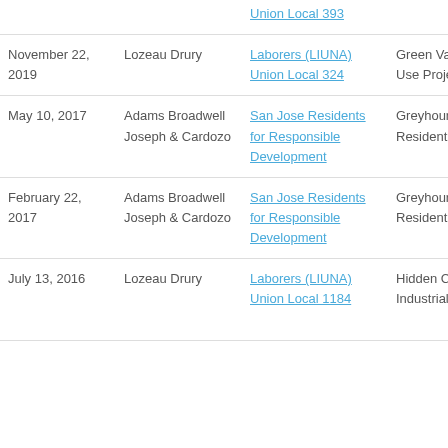| Date | Firm | Client | Project | Action |
| --- | --- | --- | --- | --- |
|  |  | Union Local 393 |  |  |
| November 22, 2019 | Lozeau Drury | Laborers (LIUNA) Union Local 324 | Green Valley II Mixed Use Project | DEIR Comm... |
| May 10, 2017 | Adams Broadwell Joseph & Cardozo | San Jose Residents for Responsible Development | Greyhound Residential Project | SEIR, Various Permits, Te... Map - Com... to Planning Commissio... |
| February 22, 2017 | Adams Broadwell Joseph & Cardozo | San Jose Residents for Responsible Development | Greyhound Residential Project | DSEIR Com... |
| July 13, 2016 | Lozeau Drury | Laborers (LIUNA) Union Local 1184 | Hidden Canyon Industrial Park | EIR Addend... Supplemen... Comments Planning Commissio... |